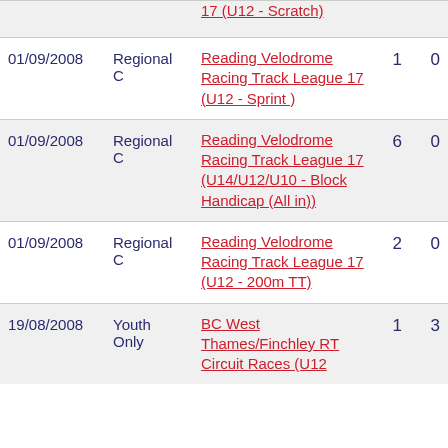| Date | Category | Event |  |  |
| --- | --- | --- | --- | --- |
| 01/09/2008 | Regional C | Reading Velodrome Racing Track League 17 (U12 - Sprint ) | 1 | 0 |
| 01/09/2008 | Regional C | Reading Velodrome Racing Track League 17 (U14/U12/U10 - Block Handicap (All in)) | 6 | 0 |
| 01/09/2008 | Regional C | Reading Velodrome Racing Track League 17 (U12 - 200m TT) | 2 | 0 |
| 19/08/2008 | Youth Only | BC West Thames/Finchley RT Circuit Races (U12 | 1 | 3 |